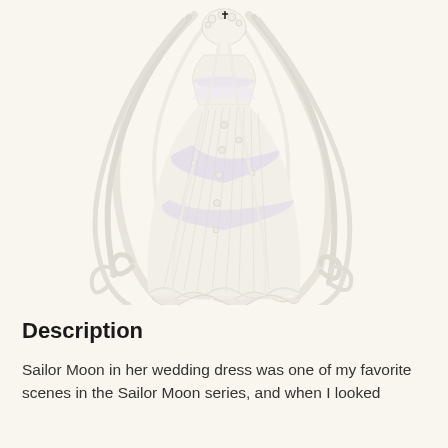[Figure (illustration): An anime-style figurine of Sailor Moon in a white wedding dress with flowing white hair and a long pleated gown with lavender accents and ruffled hem, on a cream/off-white background.]
Description
Sailor Moon in her wedding dress was one of my favorite scenes in the Sailor Moon series, and when I looked